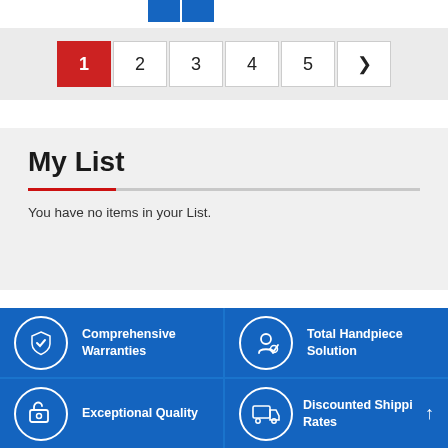[Figure (screenshot): Two blue navigation buttons at top]
[Figure (infographic): Pagination bar with pages 1 (active, red), 2, 3, 4, 5, and next arrow]
My List
You have no items in your List.
[Figure (infographic): Blue footer grid with 4 cells: Comprehensive Warranties (shield icon), Total Handpiece Solution (person/award icon), Exceptional Quality (cart icon), Discounted Shipping Rates (truck icon)]